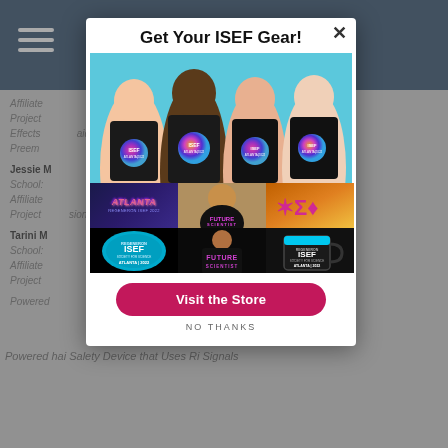Get Your ISEF Gear!
[Figure (photo): Four young people wearing black ISEF Atlanta 2022 t-shirts posing against a light blue background]
[Figure (photo): Six-cell product image grid showing: Atlanta ISEF 2022 text logo on dark background; young child wearing black Future Scientist t-shirt; colorful Greek/science symbols on orange background; ISEF sticker blob; future scientist shirt; ISEF Atlanta 2022 mug with blue interior]
Visit the Store
NO THANKS